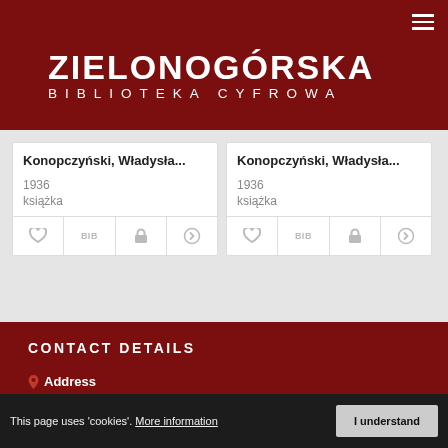[Figure (logo): Zielonogórska Biblioteka Cyfrowa logo - white text on dark red background]
Konopczyński, Władysła...
1936
książka
Konopczyński, Władysła...
1936
książka
More
CONTACT DETAILS
Address
Uniwersytet Zielonogórski
al. Wojska Polskiego 71
65-762 Zielona Góra
This page uses 'cookies'. More information
I understand